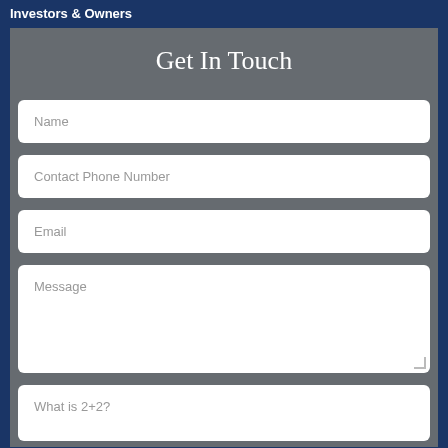Investors & Owners
Get In Touch
Name
Contact Phone Number
Email
Message
What is 2+2?